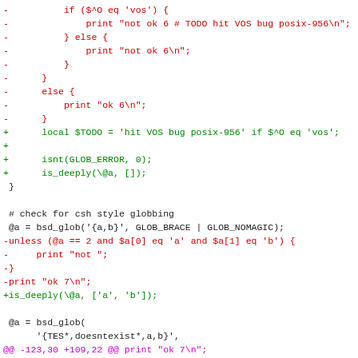[Figure (screenshot): A code diff showing Perl test file changes with red lines (removed) and green lines (added), plus context lines in black and a magenta hunk header line.]